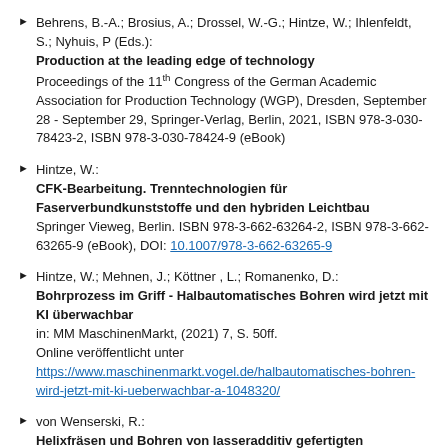Behrens, B.-A.; Brosius, A.; Drossel, W.-G.; Hintze, W.; Ihlenfeldt, S.; Nyhuis, P (Eds.): Production at the leading edge of technology. Proceedings of the 11th Congress of the German Academic Association for Production Technology (WGP), Dresden, September 28 - September 29, Springer-Verlag, Berlin, 2021, ISBN 978-3-030-78423-2, ISBN 978-3-030-78424-9 (eBook)
Hintze, W.: CFK-Bearbeitung. Trenntechnologien für Faserverbundkunststoffe und den hybriden Leichtbau. Springer Vieweg, Berlin. ISBN 978-3-662-63264-2, ISBN 978-3-662-63265-9 (eBook), DOI: 10.1007/978-3-662-63265-9
Hintze, W.; Mehnen, J.; Köttner, L.; Romanenko, D.: Bohrprozess im Griff - Halbautomatisches Bohren wird jetzt mit KI überwachbar. in: MM MaschinenMarkt, (2021) 7, S. 50ff. Online veröffentlicht unter https://www.maschinenmarkt.vogel.de/halbautomatisches-bohren-wird-jetzt-mit-ki-ueberwachbar-a-1048320/
von Wenserski, R.: Helixfräsen und Bohren von lasseradditiv gefertigten ...